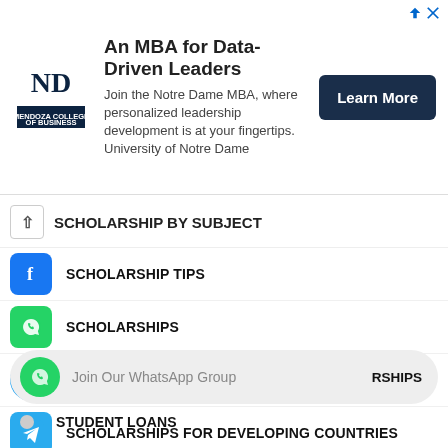[Figure (screenshot): Notre Dame Mendoza College of Business MBA advertisement banner with logo, text, and Learn More button]
SCHOLARSHIP BY SUBJECT
SCHOLARSHIP TIPS
SCHOLARSHIPS
SCHOLARSHIPS FOR AFRICANS
SCHOLARSHIPS FOR DEVELOPING COUNTRIES
SCHOOL REVIEWS
SECONDARY SCHOOL SCHOLARSHIPS
SHORT COURSES
[Figure (screenshot): Join Our WhatsApp Group popup button]
STUDENT LOANS